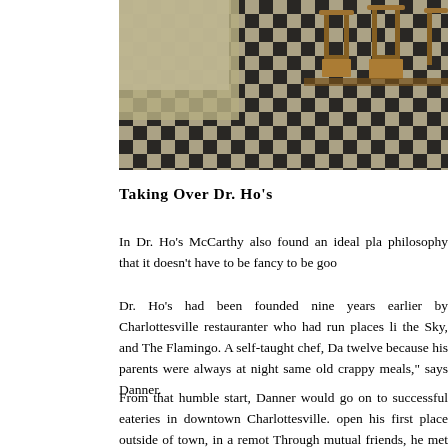[Figure (photo): Interior of Dr. Ho's restaurant showing black and white checkered tile floor and wooden chairs]
Taking Over Dr. Ho's
In Dr. Ho's McCarthy also found an ideal pla philosophy that it doesn't have to be fancy to be goo
Dr. Ho's had been founded nine years earlier by Charlottesville restauranter who had run places li the Sky, and The Flamingo. A self-taught chef, Da twelve because his parents were always at night same old crappy meals," says Danner.
From that humble start, Danner would go on to successful eateries in downtown Charlottesville. open his first place outside of town, in a remot Through mutual friends, he met Ian Wren, who interested in financing Danner's restaurant. Togeth